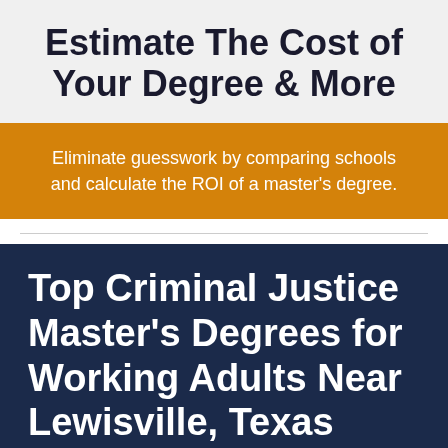Estimate The Cost of Your Degree & More
Eliminate guesswork by comparing schools and calculate the ROI of a master's degree.
Top Criminal Justice Master's Degrees for Working Adults Near Lewisville, Texas